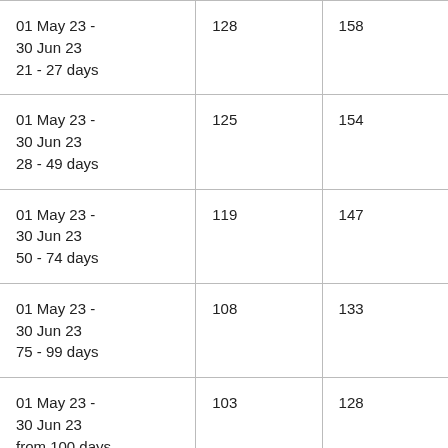| 01 May 23 -
30 Jun 23
21 - 27 days | 128 | 158 |
| 01 May 23 -
30 Jun 23
28 - 49 days | 125 | 154 |
| 01 May 23 -
30 Jun 23
50 - 74 days | 119 | 147 |
| 01 May 23 -
30 Jun 23
75 - 99 days | 108 | 133 |
| 01 May 23 -
30 Jun 23
from 100 days | 103 | 128 |
| 01 Jul 23 - 31 Oct 23
7 - 20 days | 237 | 265 |